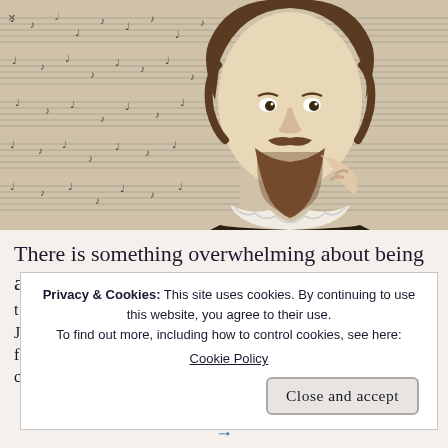[Figure (illustration): Black and white engraving/illustration of a bearded Renaissance-era man (composer, likely William Byrd) in period clothing with ruffled collar, set against a background of historical musical notation/sheet music. A small 'x' close button appears in the top-left corner.]
There is something overwhelming about being a
t
J
f
c
Privacy & Cookies: This site uses cookies. By continuing to use this website, you agree to their use.
To find out more, including how to control cookies, see here:
Cookie Policy
Close and accept